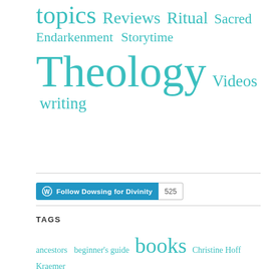[Figure (infographic): Tag cloud showing: topics, Reviews, Ritual, Sacred, Endarkenment, Storytime, Theology, Videos, writing – all in teal color with varying font sizes]
[Figure (infographic): WordPress Follow button for 'Follow Dowsing for Divinity' with follower count 525]
TAGS
[Figure (infographic): Tag cloud showing: ancestors, beginner's guide, books, Christine Hoff Kraemer, climate change, community, consent, consent culture, cultural appropriation, deep ecology, diversity – all in teal color with varying font sizes]